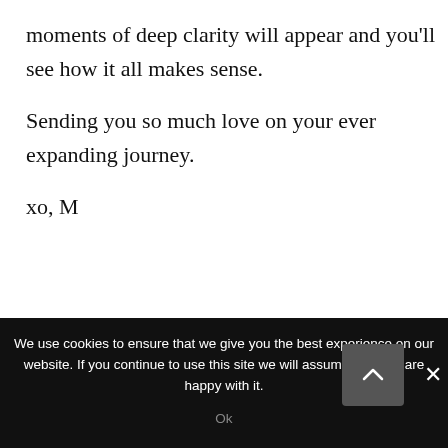moments of deep clarity will appear and you'll see how it all makes sense.
Sending you so much love on your ever expanding journey.
xo, M
LEAVE A COMMENT
We use cookies to ensure that we give you the best experience on our website. If you continue to use this site we will assume that you are happy with it.
Ok